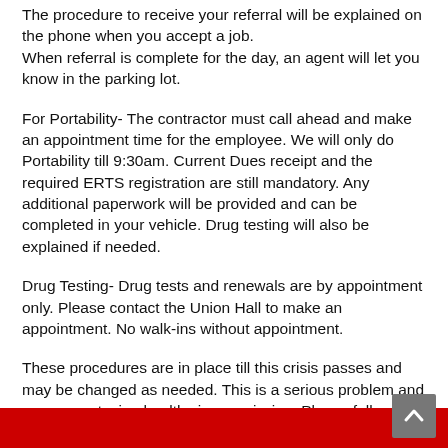The procedure to receive your referral will be explained on the phone when you accept a job. When referral is complete for the day, an agent will let you know in the parking lot.
For Portability- The contractor must call ahead and make an appointment time for the employee. We will only do Portability till 9:30am. Current Dues receipt and the required ERTS registration are still mandatory. Any additional paperwork will be provided and can be completed in your vehicle. Drug testing will also be explained if needed.
Drug Testing- Drug tests and renewals are by appointment only. Please contact the Union Hall to make an appointment. No walk-ins without appointment.
These procedures are in place till this crisis passes and may be changed as needed. This is a serious problem and everyone staying healthy is our mission. Please follow all CDC suggestions